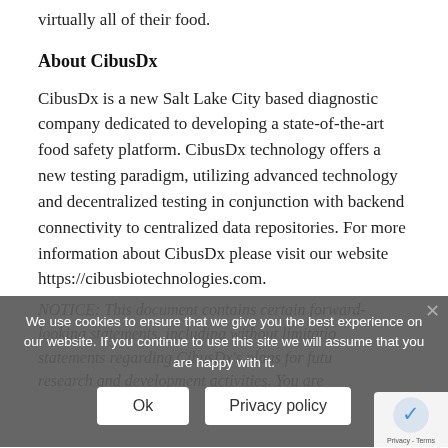virtually all of their food.
About CibusDx
CibusDx is a new Salt Lake City based diagnostic company dedicated to developing a state-of-the-art food safety platform. CibusDx technology offers a new testing paradigm, utilizing advanced technology and decentralized testing in conjunction with backend connectivity to centralized data repositories. For more information about CibusDx please visit our website https://cibusbiotechnologies.com.
NOTICE: This document contains certain forward-looking statements, including without limitation statements regarding CibusDx's plans for future research and development activities. You are
We use cookies to ensure that we give you the best experience on our website. If you continue to use this site we will assume that you are happy with it.